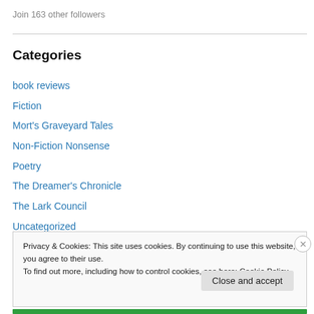Join 163 other followers
Categories
book reviews
Fiction
Mort's Graveyard Tales
Non-Fiction Nonsense
Poetry
The Dreamer's Chronicle
The Lark Council
Uncategorized
Privacy & Cookies: This site uses cookies. By continuing to use this website, you agree to their use. To find out more, including how to control cookies, see here: Cookie Policy
Close and accept